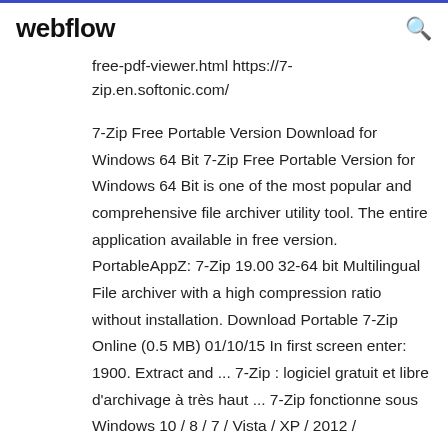webflow
free-pdf-viewer.html https://7-zip.en.softonic.com/
7-Zip Free Portable Version Download for Windows 64 Bit 7-Zip Free Portable Version for Windows 64 Bit is one of the most popular and comprehensive file archiver utility tool. The entire application available in free version. PortableAppZ: 7-Zip 19.00 32-64 bit Multilingual File archiver with a high compression ratio without installation. Download Portable 7-Zip Online (0.5 MB) 01/10/15 In first screen enter: 1900. Extract and ... 7-Zip : logiciel gratuit et libre d'archivage à très haut ... 7-Zip fonctionne sous Windows 10 / 8 / 7 / Vista / XP / 2012 /